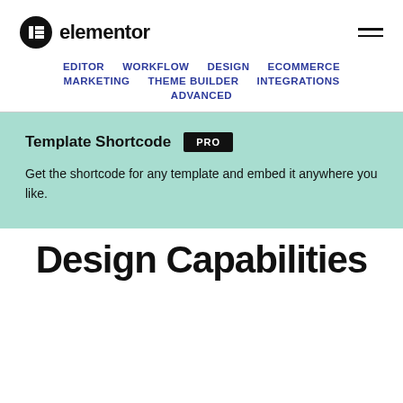elementor
EDITOR  WORKFLOW  DESIGN  ECOMMERCE  MARKETING  THEME BUILDER  INTEGRATIONS  ADVANCED
Template Shortcode PRO
Get the shortcode for any template and embed it anywhere you like.
Design Capabilities